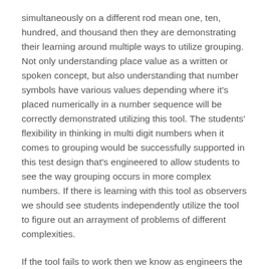simultaneously on a different rod mean one, ten, hundred, and thousand then they are demonstrating their learning around multiple ways to utilize grouping. Not only understanding place value as a written or spoken concept, but also understanding that number symbols have various values depending where it's placed numerically in a number sequence will be correctly demonstrated utilizing this tool. The students' flexibility in thinking in multi digit numbers when it comes to grouping would be successfully supported in this test design that's engineered to allow students to see the way grouping occurs in more complex numbers. If there is learning with this tool as observers we should see students independently utilize the tool to figure out an arrayment of problems of different complexities.
If the tool fails to work then we know as engineers the individual placeholders rings didn't support relational thinking as we thought. The transferring of the rings from one rod to the next when solving problems would